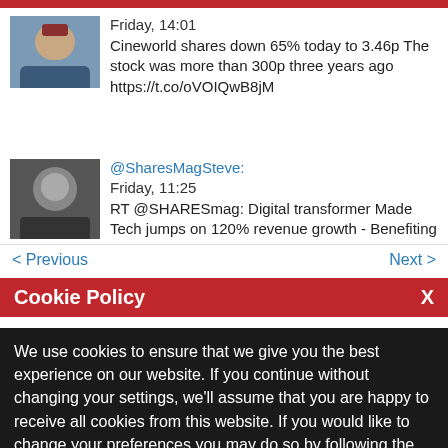Friday, 14:01
Cineworld shares down 65% today to 3.46p The stock was more than 300p three years ago https://t.co/oVOIQwB8jM
@SharesMagSteve: Friday, 11:25
RT @SHARESmag: Digital transformer Made Tech jumps on 120% revenue growth - Benefiting from Government digital push - Shares rally 7% -...
< Previous    Next >
Cookie Policy
We use cookies to ensure that we give you the best experience on our website. If you continue without changing your settings, we'll assume that you are happy to receive all cookies from this website. If you would like to change your preferences you may do so by following the instructions here.